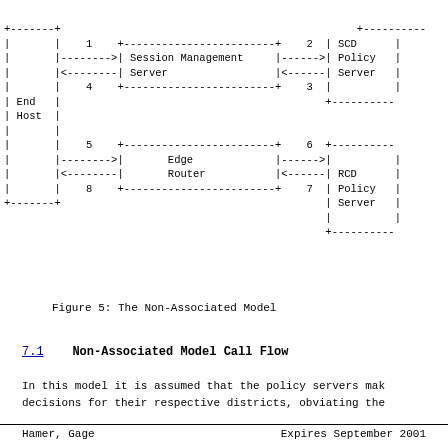[Figure (network-graph): ASCII diagram showing the Non-Associated Model with End Host connected to Session Management Server (interfaces 1-4) and Edge Router (interfaces 5-8), which connect to SCD Policy Server and RCD Policy Server respectively.]
Figure 5: The Non-Associated Model
7.1   Non-Associated Model Call Flow
In this model it is assumed that the policy servers mak decisions for their respective districts, obviating the
Hamer, Gage                    Expires September 2001